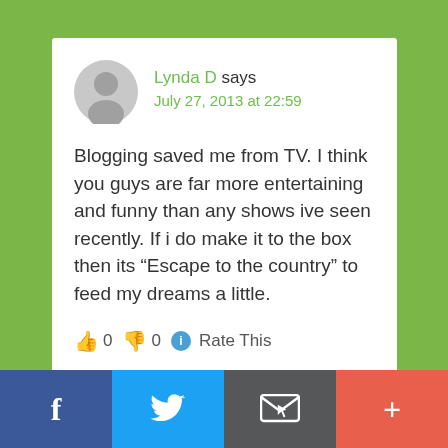Lynda D says
July 27, 2013 at 22:59
Blogging saved me from TV. I think you guys are far more entertaining and funny than any shows ive seen recently. If i do make it to the box then its “Escape to the country” to feed my dreams a little.
👍 0 👎 0 ℹ Rate This
Reply